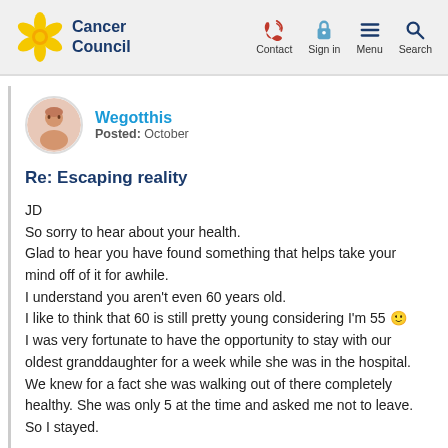Cancer Council | Contact | Sign in | Menu | Search
[Figure (logo): Cancer Council logo with yellow daffodil flower and blue bold text 'Cancer Council']
Wegotthis
Posted: October
Re: Escaping reality
JD
So sorry to hear about your health.
Glad to hear you have found something that helps take your mind off of it for awhile.
I understand you aren't even 60 years old.
I like to think that 60 is still pretty young considering I'm 55 🙂
I was very fortunate to have the opportunity to stay with our oldest granddaughter for a week while she was in the hospital. We knew for a fact she was walking out of there completely healthy. She was only 5 at the time and asked me not to leave. So I stayed.